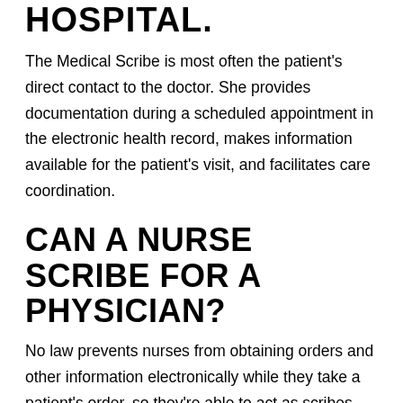HOSPITAL.
The Medical Scribe is most often the patient’s direct contact to the doctor. She provides documentation during a scheduled appointment in the electronic health record, makes information available for the patient’s visit, and facilitates care coordination.
CAN A NURSE SCRIBE FOR A PHYSICIAN?
No law prevents nurses from obtaining orders and other information electronically while they take a patient’s order, so they’re able to act as scribes. This is an example: “What to start?” Said